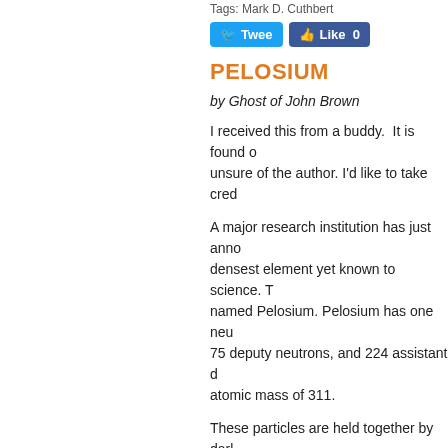Tags: Mark D. Cuthbert
[Figure (screenshot): Twitter Tweet button and Facebook Like 0 button]
PELOSIUM
by Ghost of John Brown
I received this from a buddy.  It is found o... unsure of the author. I'd like to take cred...
A major research institution has just anno... densest element yet known to science. T... named Pelosium. Pelosium has one neu... 75 deputy neutrons, and 224 assistant d... atomic mass of 311.
These particles are held together by dar... surrounded by vast quantities of lepton-li...
Continue reading "Pelosium" »
Tuesday, March 30, 2010 at 12:10 PM | Permalink |
[Figure (screenshot): Twitter Tweet button and Facebook Like 0 button]
JUDGE SAYS CONTRACTOR C... HIGHWAY WORK QUOTAS